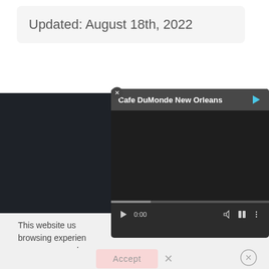Updated: August 18th, 2022
COOKIES | PRIVACY | PRESS | WORKING WITH US
FREE TOURS BY FOOT IS THE... OUR GUIDES HAVE GIVEN T... WORLD.
This website us... browsing experien... web...
[Figure (screenshot): Video player popup titled 'Cafe DuMonde New Orleans' showing a video player with play button, time 0:00, volume, fullscreen and menu controls on a dark background]
Accept  X